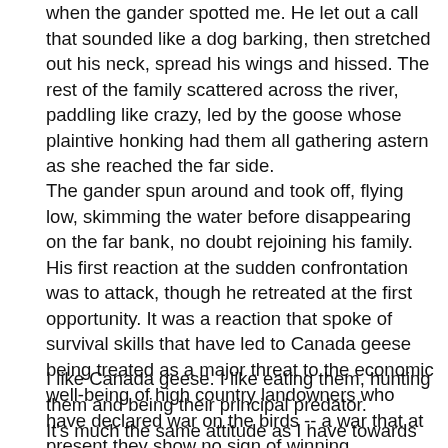when the gander spotted me. He let out a call that sounded like a dog barking, then stretched out his neck, spread his wings and hissed. The rest of the family scattered across the river, paddling like crazy, led by the goose whose plaintive honking had them all gathering astern as she reached the far side.
The gander spun around and took off, flying low, skimming the water before disappearing on the far bank, no doubt rejoining his family. His first reaction at the sudden confrontation was to attack, though he retreated at the first opportunity. It was a reaction that spoke of survival skills that have led to Canada geese being treated as a major threat to the economic well-being of high country landowners who have declared war on the birds -- a war that at present they show no sign of winning.
I like Canada geese. I like eating them, hunting them and being their principal predator.
It's much the same attitude as I have towards trout. Trout are creatures of great beauty, designed by nature to fit their